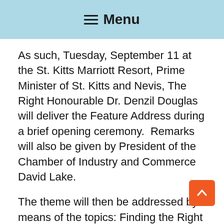≡ Menu
As such, Tuesday, September 11 at the St. Kitts Marriott Resort, Prime Minister of St. Kitts and Nevis, The Right Honourable Dr. Denzil Douglas will deliver the Feature Address during a brief opening ceremony.  Remarks will also be given by President of the Chamber of Industry and Commerce David Lake.
The theme will then be addressed by means of the topics: Finding the Right